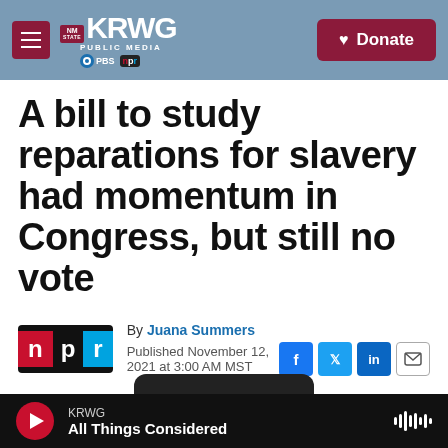KRWG PUBLIC MEDIA – NM STATE | PBS | NPR | Donate
A bill to study reparations for slavery had momentum in Congress, but still no vote
By Juana Summers
Published November 12, 2021 at 3:00 AM MST
KRWG – All Things Considered